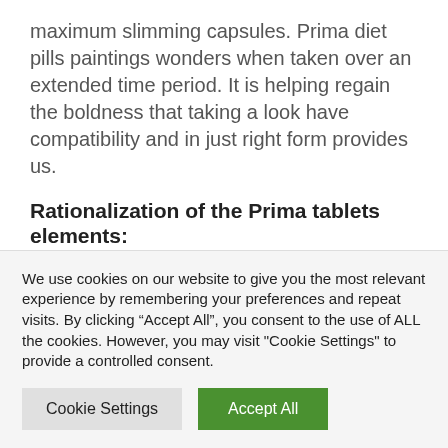maximum slimming capsules. Prima diet pills paintings wonders when taken over an extended time period. It is helping regain the boldness that taking a look have compatibility and in just right form provides us.
Rationalization of the Prima tablets elements:
Many slimming capsules comprise quite a lot of elements that assist them paintings. The full effectiveness of a vitamin tablet normally is determined by the efficiency of the elements that pass into it. On the other hand, a very powerful issue that many makers of
We use cookies on our website to give you the most relevant experience by remembering your preferences and repeat visits. By clicking “Accept All”, you consent to the use of ALL the cookies. However, you may visit "Cookie Settings" to provide a controlled consent.